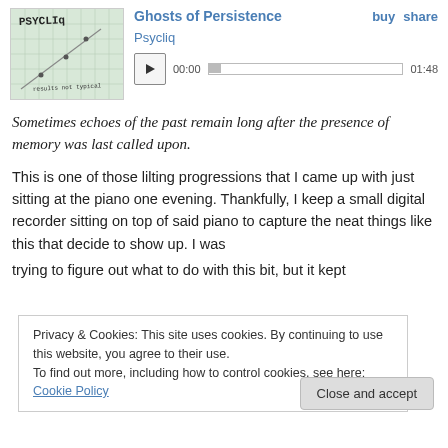[Figure (screenshot): Album art for 'Ghosts of Persistence' by Psycliq — handwritten 'PSYCLIQ' text on grid paper background with a diagonal line graph and handwritten 'results not typical']
Ghosts of Persistence
Psycliq
buy   share
00:00   01:48
Sometimes echoes of the past remain long after the presence of memory was last called upon.
This is one of those lilting progressions that I came up with just sitting at the piano one evening. Thankfully, I keep a small digital recorder sitting on top of said piano to capture the neat things like this that decide to show up. I was trying to figure out what to do with this bit, but it kept
Privacy & Cookies: This site uses cookies. By continuing to use this website, you agree to their use.
To find out more, including how to control cookies, see here: Cookie Policy
Close and accept